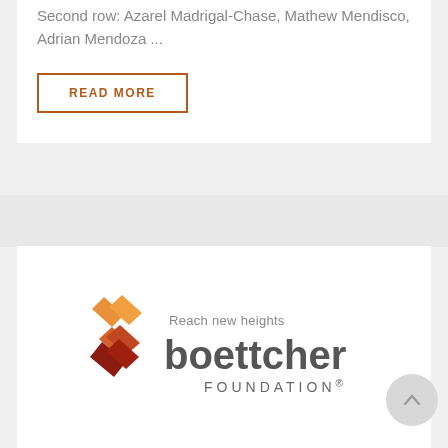Second row: Azarel Madrigal-Chase, Mathew Mendisco, Adrian Mendoza ...
READ MORE
[Figure (logo): Boettcher Foundation logo with feather/leaf graphic mark and tagline 'Reach new heights']